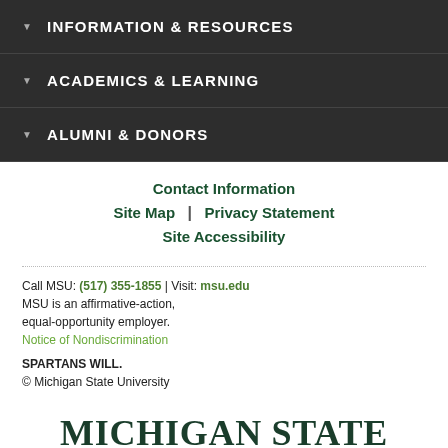▼ INFORMATION & RESOURCES
▼ ACADEMICS & LEARNING
▼ ALUMNI & DONORS
Contact Information
Site Map | Privacy Statement
Site Accessibility
Call MSU: (517) 355-1855 | Visit: msu.edu
MSU is an affirmative-action, equal-opportunity employer.
Notice of Nondiscrimination
SPARTANS WILL.
© Michigan State University
[Figure (logo): Michigan State University logo with text MICHIGAN STATE UNIVERSITY]